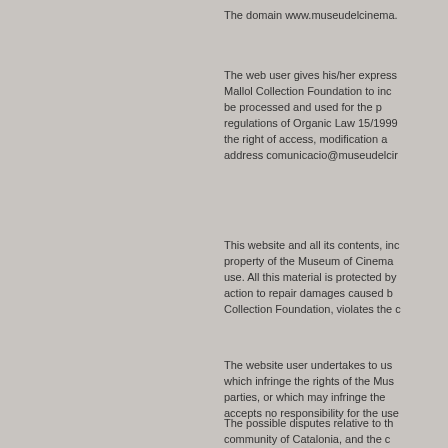The domain www.museudelcinema.
The web user gives his/her express consent to the Mallol Collection Foundation to incorporate the data to be processed and used for the purposes of the regulations of Organic Law 15/1999, and is recognised the right of access, modification and cancellation by address comunicacio@museudelcir
This website and all its contents, including the property of the Museum of Cinema use. All this material is protected by action to repair damages caused b Collection Foundation, violates the c
The website user undertakes to us which infringe the rights of the Mus parties, or which may infringe the accepts no responsibility for the use
The possible disputes relative to th community of Catalonia, and the c website, regardless of the territoria respect this clause with the expres